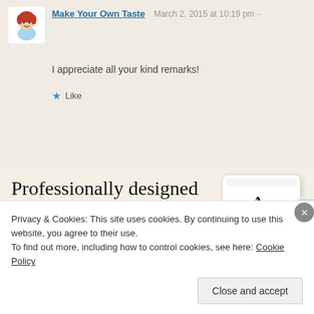Make Your Own Taste  March 2, 2015 at 10:19 pm
I appreciate all your kind remarks!
★ Like
[Figure (infographic): Advertisement banner: 'Professionally designed sites in less than a week' with green 'Explore options' button and phone/tablet mockups showing food website designs]
Privacy & Cookies: This site uses cookies. By continuing to use this website, you agree to their use.
To find out more, including how to control cookies, see here: Cookie Policy
Close and accept